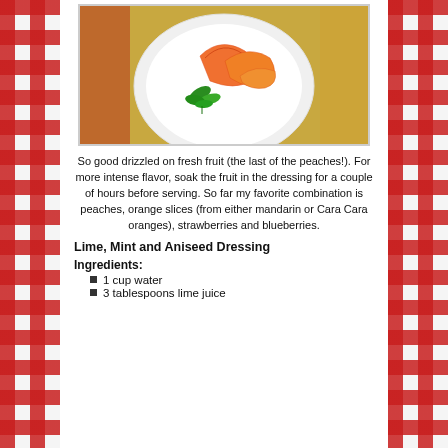[Figure (photo): A white plate with peach slices and fresh mint leaves, on a yellow/floral background]
So good drizzled on fresh fruit (the last of the peaches!). For more intense flavor, soak the fruit in the dressing for a couple of hours before serving.  So far my favorite combination is peaches, orange slices (from either mandarin or Cara Cara oranges), strawberries and blueberries.
Lime, Mint and Aniseed Dressing
Ingredients:
1 cup water
3 tablespoons lime juice